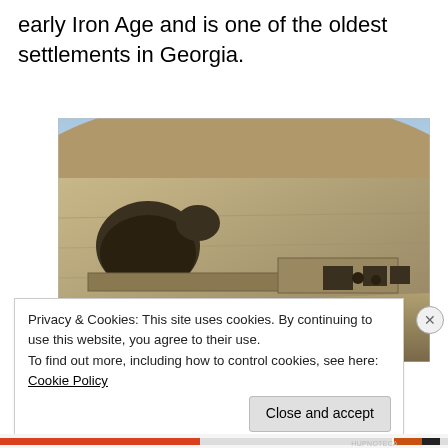early Iron Age and is one of the oldest settlements in Georgia.
[Figure (photo): Photograph of ancient cave dwellings carved into rocky cliffs, showing large arched openings and stone walls at an archaeological site in Georgia.]
Privacy & Cookies: This site uses cookies. By continuing to use this website, you agree to their use.
To find out more, including how to control cookies, see here: Cookie Policy
Close and accept